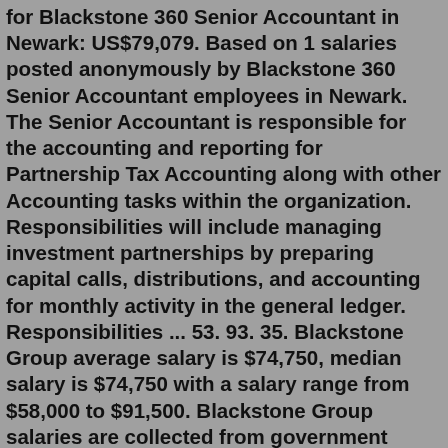for Blackstone 360 Senior Accountant in Newark: US$79,079. Based on 1 salaries posted anonymously by Blackstone 360 Senior Accountant employees in Newark. The Senior Accountant is responsible for the accounting and reporting for Partnership Tax Accounting along with other Accounting tasks within the organization. Responsibilities will include managing investment partnerships by preparing capital calls, distributions, and accounting for monthly activity in the general ledger. Responsibilities ... 53. 93. 35. Blackstone Group average salary is $74,750, median salary is $74,750 with a salary range from $58,000 to $91,500. Blackstone Group salaries are collected from government agencies and companies. Each salary is associated with a real job position. Blackstone Group salary statistics is not exclusive and is for reference only. Today's top 78 Blackstone jobs in India. Leverage your professional network, and get hired. New Blackstone jobs added daily.Blackstone; Accountant Jobs in Blackstone, VA Develop and maintain financial records. Accountants